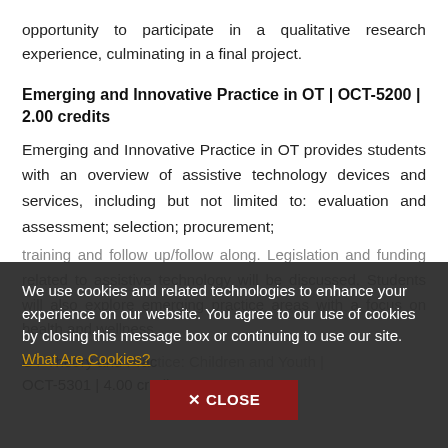opportunity to participate in a qualitative research experience, culminating in a final project.
Emerging and Innovative Practice in OT | OCT-5200 | 2.00 credits
Emerging and Innovative Practice in OT provides students with an overview of assistive technology devices and services, including but not limited to: evaluation and assessment; selection; procurement;
training and follow up/follow along. Legislation and funding related to assistive technology will be discussed. Students will also explore emerging practice areas with a focus on health and wellness
We use cookies and related technologies to enhance your experience on our website. You agree to our use of cookies by closing this message box or continuing to use our site. What Are Cookies?
OT Theory and Practice: Children and Youth | OCT-5301 | 4.00 credits